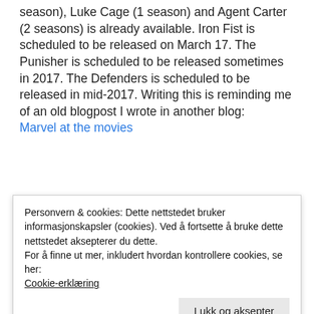season), Luke Cage (1 season) and Agent Carter (2 seasons) is already available. Iron Fist is scheduled to be released on March 17. The Punisher is scheduled to be released sometimes in 2017. The Defenders is scheduled to be released in mid-2017. Writing this is reminding me of an old blogpost I wrote in another blog: Marvel at the movies
Personvern & cookies: Dette nettstedet bruker informasjonskapsler (cookies). Ved å fortsette å bruke dette nettstedet aksepterer du dette.
For å finne ut mer, inkludert hvordan kontrollere cookies, se her:
Cookie-erklæring
Lukk og aksepter
The zombies will rise again!